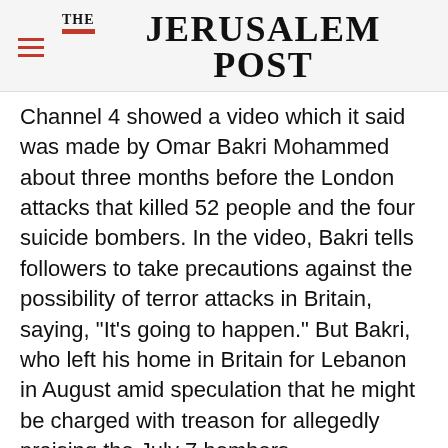THE JERUSALEM POST
Channel 4 showed a video which it said was made by Omar Bakri Mohammed about three months before the London attacks that killed 52 people and the four suicide bombers. In the video, Bakri tells followers to take precautions against the possibility of terror attacks in Britain, saying, "It's going to happen." But Bakri, who left his home in Britain for Lebanon in August amid speculation that he might be charged with treason for allegedly praising the July 7 bombers.
Advertisement